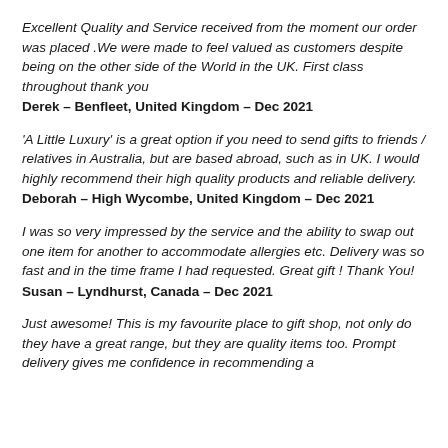Excellent Quality and Service received from the moment our order was placed .We were made to feel valued as customers despite being on the other side of the World in the UK. First class throughout thank you
Derek – Benfleet, United Kingdom – Dec 2021
'A Little Luxury' is a great option if you need to send gifts to friends / relatives in Australia, but are based abroad, such as in UK. I would highly recommend their high quality products and reliable delivery.
Deborah – High Wycombe, United Kingdom – Dec 2021
I was so very impressed by the service and the ability to swap out one item for another to accommodate allergies etc. Delivery was so fast and in the time frame I had requested. Great gift ! Thank You!
Susan – Lyndhurst, Canada – Dec 2021
Just awesome! This is my favourite place to gift shop, not only do they have a great range, but they are quality items too. Prompt delivery gives me confidence in recommending a